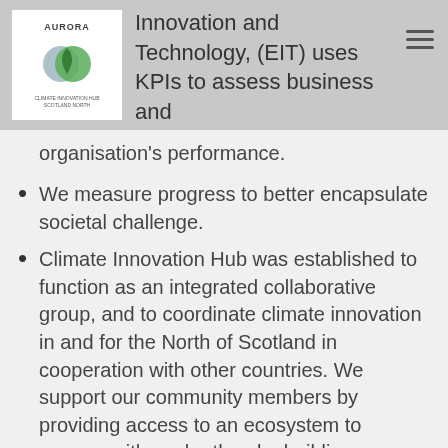Innovation and Technology, (EIT) uses KPIs to assess business and organisation's performance.
We measure progress to better encapsulate societal challenge.
Climate Innovation Hub was established to function as an integrated collaborative group, and to coordinate climate innovation in and for the North of Scotland in cooperation with other countries. We support our community members by providing access to an ecosystem to engage with each other, by building a network that is recognised internationally in the field of climate change innovation and by supporting its community members in identifying…